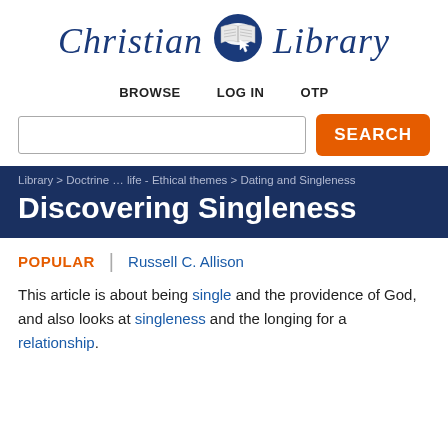[Figure (logo): Christian Library logo with open book icon and cursor, text in dark navy italic serif font]
BROWSE   LOG IN   OTP
SEARCH
Library > Doctrine … life - Ethical themes > Dating and Singleness
Discovering Singleness
POPULAR  |  Russell C. Allison
This article is about being single and the providence of God, and also looks at singleness and the longing for a relationship.